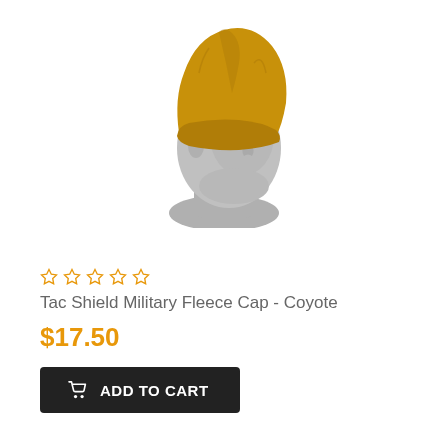[Figure (photo): A gray mannequin head wearing a coyote/tan colored military fleece beanie cap, shown in profile view facing left.]
☆ ☆ ☆ ☆ ☆
Tac Shield Military Fleece Cap - Coyote
$17.50
ADD TO CART